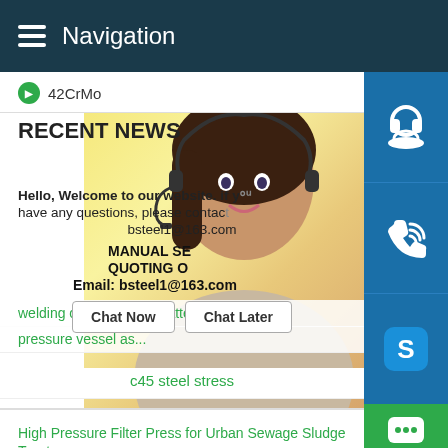Navigation
42CrMo
RECENT NEWS
[Figure (screenshot): Chat support popup overlay with woman wearing headset in background. Shows message: Hello, Welcome to our website. if you have any questions, please contact bsteel1@163.com. MANUAL SE... QUOTING O... Email: bsteel1@163.com. Buttons: Chat Now, Chat Later.]
welding consumables matter
pressure vessel as...
c45 steel stress
High Pressure Filter Press for Urban Sewage Sludge Treatm...
AH36 and DH36 steel definition